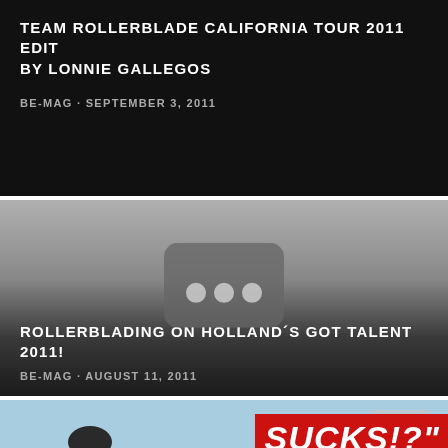TEAM ROLLERBLADE CALIFORNIA TOUR 2011 EDIT BY LONNIE GALLEGOS
BE-MAG · SEPTEMBER 3, 2011
[Figure (photo): Dark card with video thumbnail placeholder showing three dots icon]
ROLLERBLADING ON HOLLAND´S GOT TALENT 2011!
BE-MAG · AUGUST 11, 2011
[Figure (photo): Photo of person in blue hoodie with red banner reading SUCKS!?" overlay]